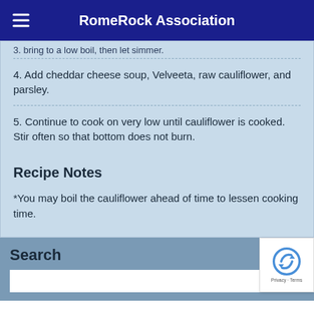RomeRock Association
3. bring to a low boil, then let simmer.
4. Add cheddar cheese soup, Velveeta, raw cauliflower, and parsley.
5. Continue to cook on very low until cauliflower is cooked. Stir often so that bottom does not burn.
Recipe Notes
*You may boil the cauliflower ahead of time to lessen cooking time.
Search